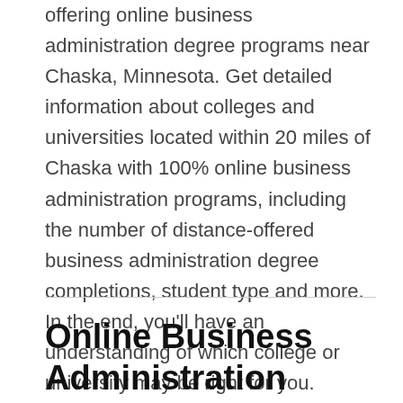offering online business administration degree programs near Chaska, Minnesota. Get detailed information about colleges and universities located within 20 miles of Chaska with 100% online business administration programs, including the number of distance-offered business administration degree completions, student type and more. In the end, you'll have an understanding of which college or university may be right for you.
Online Business Administration Degrees